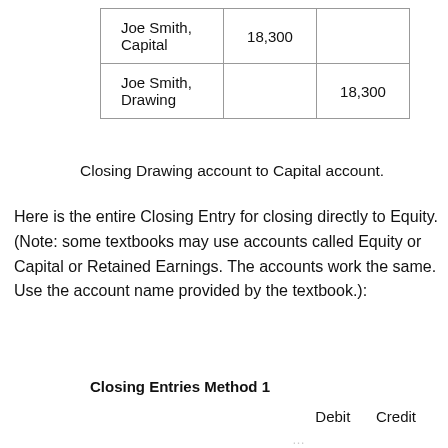|  | Debit | Credit |
| --- | --- | --- |
| Joe Smith, Capital | 18,300 |  |
| Joe Smith, Drawing |  | 18,300 |
Closing Drawing account to Capital account.
Here is the entire Closing Entry for closing directly to Equity. (Note: some textbooks may use accounts called Equity or Capital or Retained Earnings. The accounts work the same. Use the account name provided by the textbook.):
Closing Entries Method 1
|  | Debit | Credit |
| --- | --- | --- |